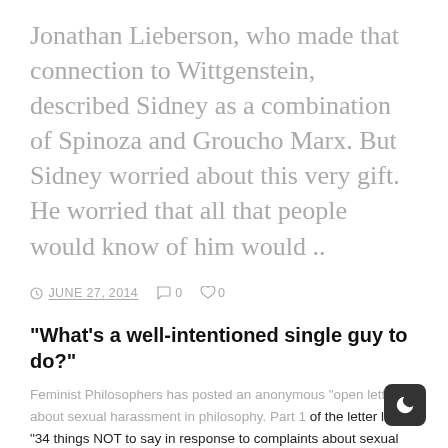Jonathan Lieberson, who made that connection to Wittgenstein, described Sidney as a combination of Spinoza and Groucho Marx. But Sidney worried about this very gift. He worried that all that people would know of him would ..
© JUNE 27, 2014  ◯0  ♡0
“What’s a well-intentioned single guy to do?”
Feminist Philosophers has posted an anonymous “open letter” about sexual harassment in philosophy. Part 1 of the letter lists “34 things NOT to say in response to complaints about sexual harassment in philosophy.” Part 2 provides some elaboration and explanation of the list, including what seems to be a central point: “Countering complaints about sexual harassment b..